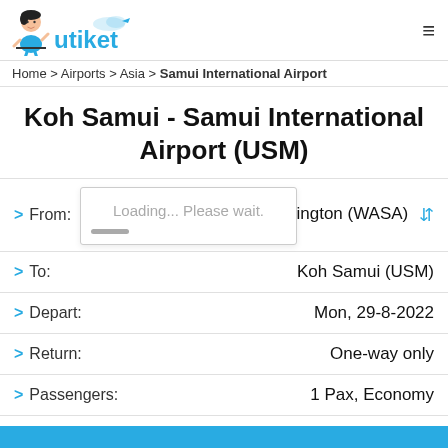[Figure (logo): Utiket logo with mascot girl in blue outfit and utiket text in blue with cloud and airplane icon]
Home > Airports > Asia > Samui International Airport
Koh Samui - Samui International Airport (USM)
> From: Washington (WASA) [swap icon] Loading... Please wait.
> To: Koh Samui (USM)
> Depart: Mon, 29-8-2022
> Return: One-way only
> Passengers: 1 Pax, Economy